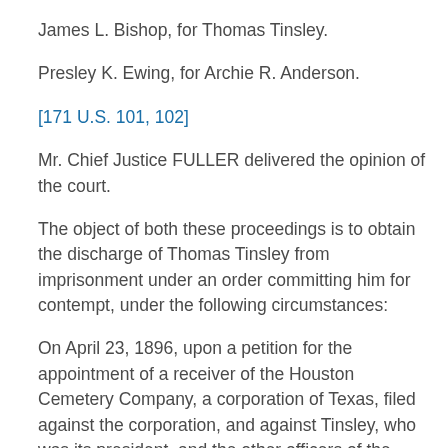James L. Bishop, for Thomas Tinsley.
Presley K. Ewing, for Archie R. Anderson.
[171 U.S. 101, 102]
Mr. Chief Justice FULLER delivered the opinion of the court.
The object of both these proceedings is to obtain the discharge of Thomas Tinsley from imprisonment under an order committing him for contempt, under the following circumstances:
On April 23, 1896, upon a petition for the appointment of a receiver of the Houston Cemetery Company, a corporation of Texas, filed against the corporation, and against Tinsley, who was its president, and the other officers of the corporation, both as such officers and individually, by some, in behalf of all of the owners of lots in the cemetery; the